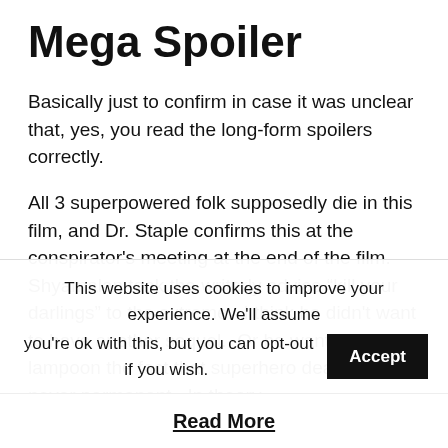Mega Spoiler
Basically just to confirm in case it was unclear that, yes, you read the long-form spoilers correctly.
All 3 superpowered folk supposedly die in this film, and Dr. Staple confirms this at the conspirator’s meeting at the end of the film.  Shyamalan took the writerly advice “kill your darlings” to the extreme.  I think he didn’t want to have another sequel.  Or he wants to lampoon the fact that superhero deaths are never permanent.  In theory, Cole could be in this universe (from Sixth Sense)
This website uses cookies to improve your experience. We'll assume you're ok with this, but you can opt-out if you wish.
Read More